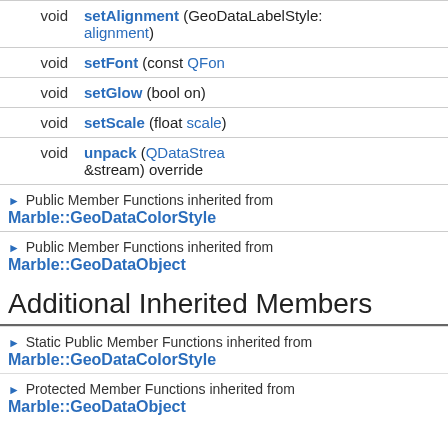| return | signature |
| --- | --- |
| void | setAlignment (GeoDataLabelStyle: alignment) |
| void | setFont (const QFont…) |
| void | setGlow (bool on) |
| void | setScale (float scale) |
| void | unpack (QDataStream &stream) override |
▶ Public Member Functions inherited from Marble::GeoDataColorStyle
▶ Public Member Functions inherited from Marble::GeoDataObject
Additional Inherited Members
▶ Static Public Member Functions inherited from Marble::GeoDataColorStyle
▶ Protected Member Functions inherited from Marble::GeoDataObject